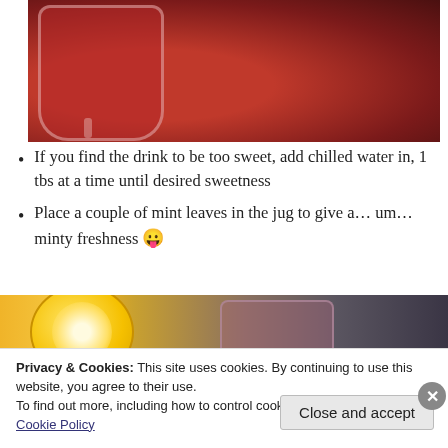[Figure (photo): A red drink in a glass pitcher/jar on a woven tray background, viewed from above]
If you find the drink to be too sweet, add chilled water in, 1 tbs at a time until desired sweetness
Place a couple of mint leaves in the jug to give a... um... minty freshness 😛
[Figure (photo): A lemon slice resting on a glass with a pinkish-purple drink, on a table with metallic background]
Privacy & Cookies: This site uses cookies. By continuing to use this website, you agree to their use.
To find out more, including how to control cookies, see here:
Cookie Policy
Close and accept